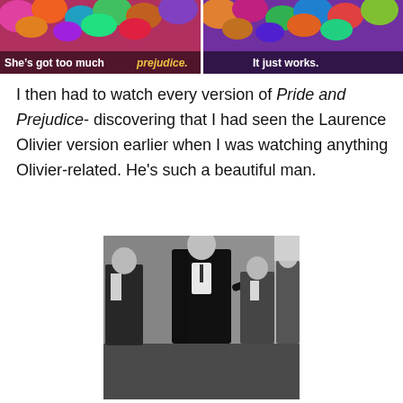[Figure (photo): Two side-by-side screenshot stills from a colorful scene with caption overlays. Left caption: 'She's got too much prejudice.' Right caption: 'It just works.']
I then had to watch every version of Pride and Prejudice- discovering that I had seen the Laurence Olivier version earlier when I was watching anything Olivier-related. He's such a beautiful man.
[Figure (photo): Black and white still from the Laurence Olivier version of Pride and Prejudice, showing several figures in formal period attire in an interior scene.]